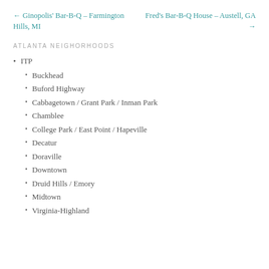← Ginopolis' Bar-B-Q – Farmington Hills, MI    Fred's Bar-B-Q House – Austell, GA →
ATLANTA NEIGHORHOODS
ITP
Buckhead
Buford Highway
Cabbagetown / Grant Park / Inman Park
Chamblee
College Park / East Point / Hapeville
Decatur
Doraville
Downtown
Druid Hills / Emory
Midtown
Virginia-Highland